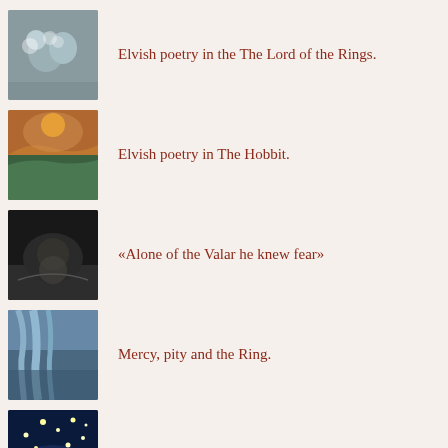Elvish poetry in the The Lord of the Rings.
Elvish poetry in The Hobbit.
«Alone of the Valar he knew fear»
Mercy, pity and the Ring.
On the songs of power.
Spotting the white deer.
Tolkien inspirations /// On autumn.
On Lúthien's power of singing.